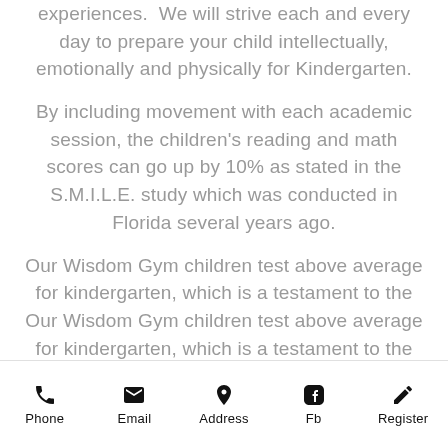experiences.  We will strive each and every day to prepare your child intellectually, emotionally and physically for Kindergarten.
By including movement with each academic session, the children's reading and math scores can go up by 10% as stated in the S.M.I.L.E. study which was conducted in Florida several years ago.
Our Wisdom Gym children test above average for kindergarten, which is a testament to the sweet study. We are so proud of
Phone  Email  Address  Fb  Register